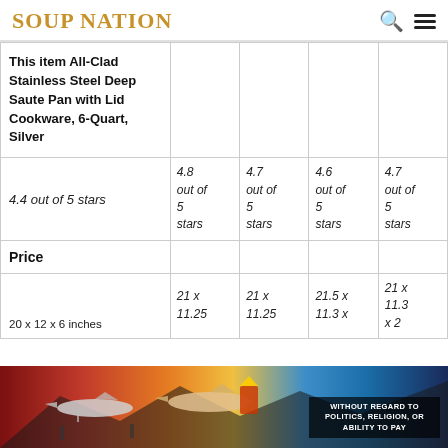SOUP NATION
| This item All-Clad Stainless Steel Deep Saute Pan with Lid Cookware, 6-Quart, Silver |  |  |  |  |
| --- | --- | --- | --- | --- |
| 4.4 out of 5 stars | 4.8 out of 5 stars | 4.7 out of 5 stars | 4.6 out of 5 stars | 4.7 out of 5 stars |
| Price |  |  |  |  |
| 20 x 12 x 6 inches | 21 x 11.25 | 21 x 11.25 | 21.5 x 11.3 x | 21 x 11.3 x 2 |
[Figure (photo): Advertisement banner showing cargo planes being loaded, with text 'WITHOUT REGARD TO POLITICS, RELIGION, OR ABILITY TO PAY']